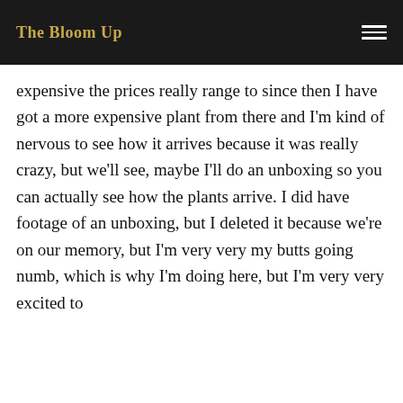The Bloom Up
expensive the prices really range to since then I have got a more expensive plant from there and I'm kind of nervous to see how it arrives because it was really crazy, but we'll see, maybe I'll do an unboxing so you can actually see how the plants arrive. I did have footage of an unboxing, but I deleted it because we're on our memory, but I'm very very my butts going numb, which is why I'm doing here, but I'm very very excited to